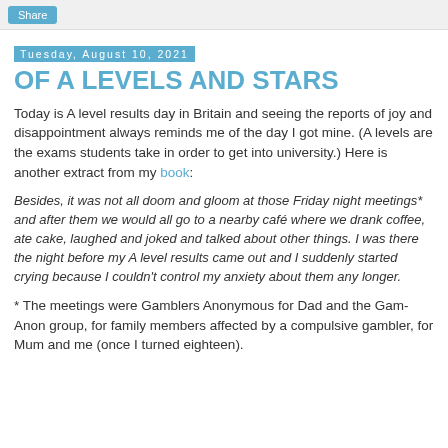Share
Tuesday, August 10, 2021
OF A LEVELS AND STARS
Today is A level results day in Britain and seeing the reports of joy and disappointment always reminds me of the day I got mine. (A levels are the exams students take in order to get into university.) Here is another extract from my book:
Besides, it was not all doom and gloom at those Friday night meetings* and after them we would all go to a nearby café where we drank coffee, ate cake, laughed and joked and talked about other things. I was there the night before my A level results came out and I suddenly started crying because I couldn't control my anxiety about them any longer.
* The meetings were Gamblers Anonymous for Dad and the Gam-Anon group, for family members affected by a compulsive gambler, for Mum and me (once I turned eighteen).